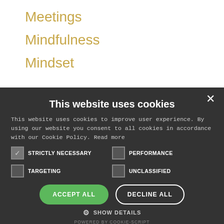Meetings
Mindfulness
Mindset
This website uses cookies
This website uses cookies to improve user experience. By using our website you consent to all cookies in accordance with our Cookie Policy. Read more
STRICTLY NECESSARY | PERFORMANCE | TARGETING | UNCLASSIFIED
ACCEPT ALL | DECLINE ALL
SHOW DETAILS
POWERED BY COOKIE-SCRIPT